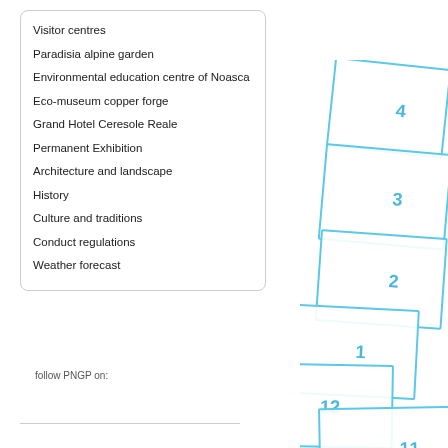Visitor centres
Paradisia alpine garden
Environmental education centre of Noasca
Eco-museum copper forge
Grand Hotel Ceresole Reale
Permanent Exhibition
Architecture and landscape
History
Culture and traditions
Conduct regulations
Weather forecast
follow PNGP on:
[Figure (infographic): Stacked rotated card/photo thumbnails numbered 4, 3, 2, 1, 12, 11 in blue outline style, arranged in a cascading diagonal stack]